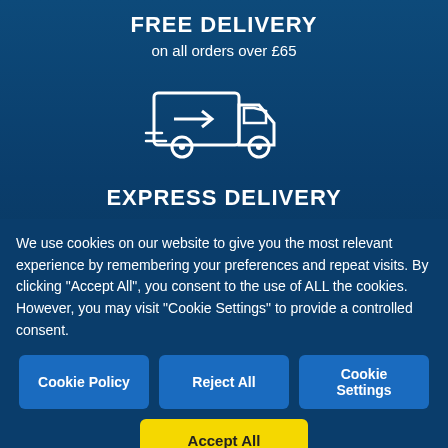FREE DELIVERY
on all orders over £65
[Figure (illustration): White outline icon of a delivery truck with motion lines, facing right]
EXPRESS DELIVERY
We use cookies on our website to give you the most relevant experience by remembering your preferences and repeat visits. By clicking "Accept All", you consent to the use of ALL the cookies. However, you may visit "Cookie Settings" to provide a controlled consent.
Cookie Policy | Reject All | Cookie Settings
Accept All